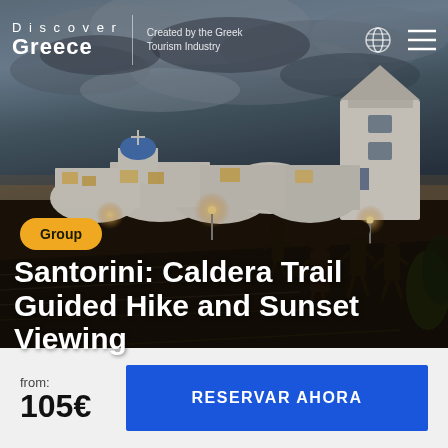[Figure (photo): Evening/dusk photo of Santorini, showing iconic white cave houses and buildings lit with warm lights against a dramatic cloudy blue-grey sky, with tourists walking along a cobblestone path in the foreground.]
Discover Greece | Created by the Greek Tourism Industry
Group
Santorini: Caldera Trail Guided Hike and Sunset Viewing
from: 105€
RESERVAR AHORA